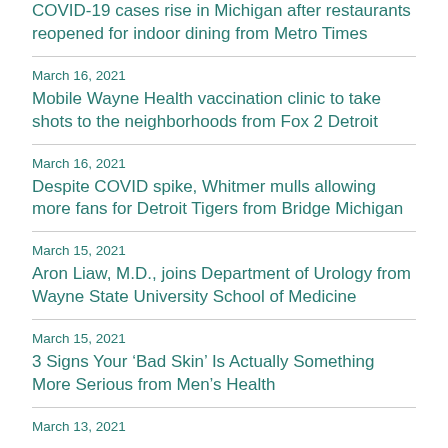COVID-19 cases rise in Michigan after restaurants reopened for indoor dining from Metro Times
March 16, 2021
Mobile Wayne Health vaccination clinic to take shots to the neighborhoods from Fox 2 Detroit
March 16, 2021
Despite COVID spike, Whitmer mulls allowing more fans for Detroit Tigers from Bridge Michigan
March 15, 2021
Aron Liaw, M.D., joins Department of Urology from Wayne State University School of Medicine
March 15, 2021
3 Signs Your ‘Bad Skin’ Is Actually Something More Serious from Men’s Health
March 13, 2021